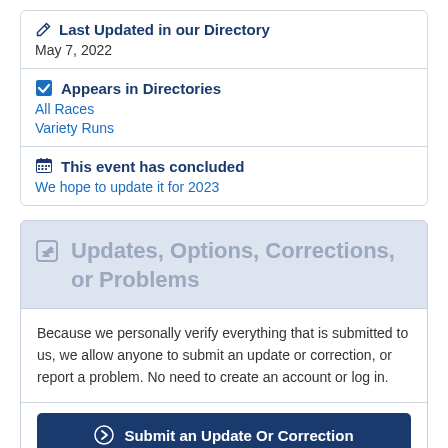Last Updated in our Directory
May 7, 2022
Appears in Directories
All Races
Variety Runs
This event has concluded
We hope to update it for 2023
Updates, Options, Corrections, or Problems
Because we personally verify everything that is submitted to us, we allow anyone to submit an update or correction, or report a problem. No need to create an account or log in.
Submit an Update Or Correction